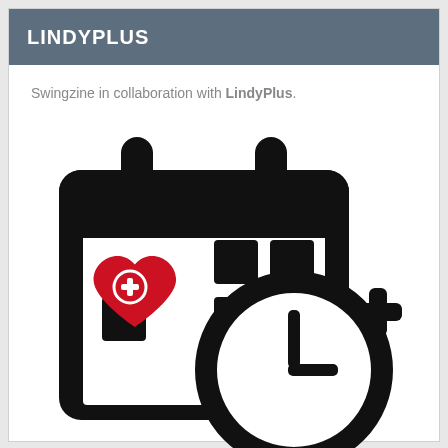LINDYPLUS
Swingzine in collaboration with LindyPlus.
[Figure (logo): LindyPlus app icon: a black calendar icon with a red heart with a white plus sign in the lower-right of the heart, and a clock with a plus sign overlapping the lower-right corner of the calendar.]